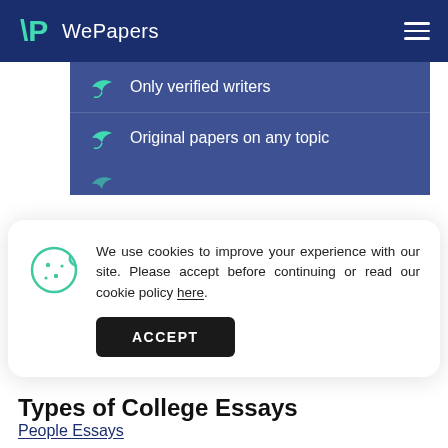WePapers
Only verified writers
Original papers on any topic
We use cookies to improve your experience with our site. Please accept before continuing or read our cookie policy here.
ACCEPT
Types of College Essays
People Essays